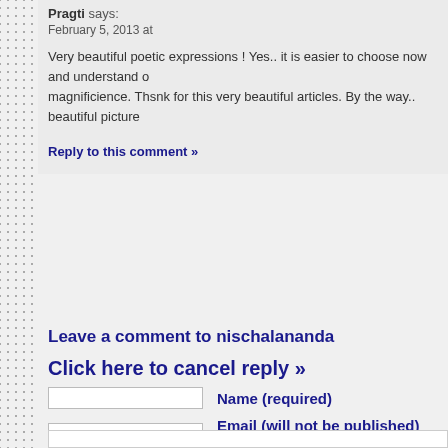Pragti says: February 5, 2013 at
Very beautiful poetic expressions ! Yes.. it is easier to choose now and understand o magnificience. Thsnk for this very beautiful articles. By the way.. beautiful picture
Reply to this comment »
Leave a comment to nischalananda
Click here to cancel reply »
Name (required)
Email (will not be published) (required)
Website (optional)